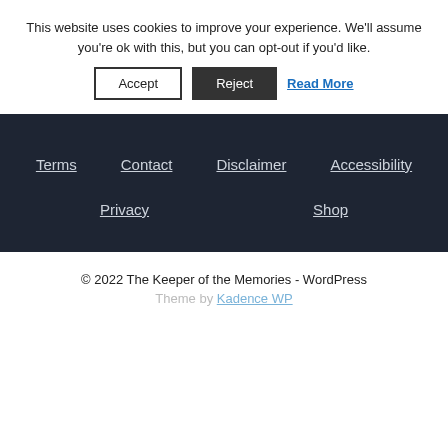This website uses cookies to improve your experience. We'll assume you're ok with this, but you can opt-out if you'd like.
Accept  Reject  Read More
Terms
Contact
Disclaimer
Accessibility
Privacy
Shop
© 2022 The Keeper of the Memories - WordPress
Theme by Kadence WP